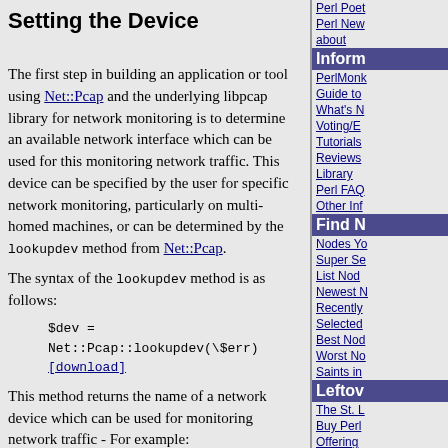Setting the Device
The first step in building an application or tool using Net::Pcap and the underlying libpcap library for network monitoring is to determine an available network interface which can be used for this monitoring network traffic. This device can be specified by the user for specific network monitoring, particularly on multi-homed machines, or can be determined by the lookupdev method from Net::Pcap.
The syntax of the lookupdev method is as follows:
$dev = Net::Pcap::lookupdev(\$err)
[download]
This method returns the name of a network device which can be used for monitoring network traffic - For example:
use Net::Pcap;
use strict;

my $err;
my $dev = Net::Pcap::lookupdev(\$err);
if (defined $err) {
    die 'Unable to determine network device
Inform
PerlMonk
Guide to
What's N
Voting/E
Tutorials
Reviews
Library
Perl FAQ
Other Inf
Find N
Nodes Yo
Super Se
List Nod
Newest N
Recently
Selected
Best Nod
Worst No
Saints in
Leftov
The St. L
Buy Perl
Offering
Awards